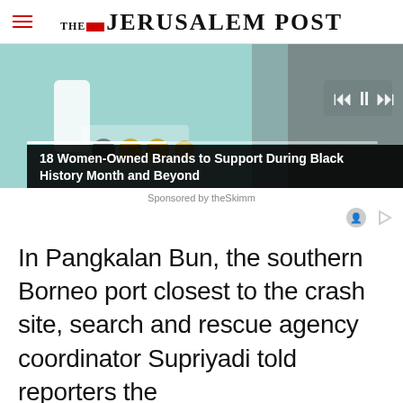THE JERUSALEM POST
[Figure (screenshot): Advertisement banner showing a woman and emojis with media player controls. Overlay text: '18 Women-Owned Brands to Support During Black History Month and Beyond']
Sponsored by theSkimm
In Pangkalan Bun, the southern Borneo port closest to the crash site, search and rescue agency coordinator Supriyadi told reporters the
Advertisement